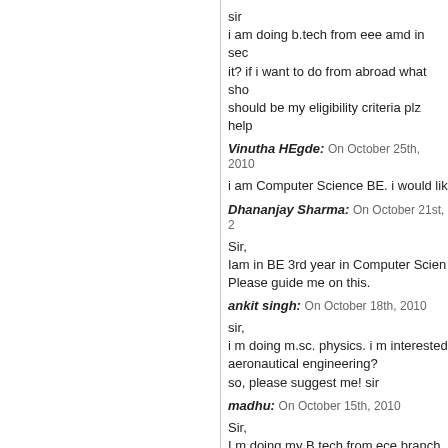sir
i am doing b.tech from eee amd in sec...
it? if i want to do from abroad what sho...
should be my eligibility criteria plz help
Vinutha HEgde: On October 25th, 2010
i am Computer Science BE. i would lik...
Dhananjay Sharma: On October 21st, 2...
Sir,
Iam in BE 3rd year in Computer Scien...
Please guide me on this.
ankit singh: On October 18th, 2010
sir,
i m doing m.sc. physics. i m interested...
aeronautical engineering?
so, please suggest me! sir
madhu: On October 15th, 2010
Sir,
I m doing my B.tech from ece branch o...
please let me know the criteria and the...
SHAIK JEELAN: On October 4th, 2010
Hello sir my name is shaik jeelan i hav...
IN AERONATICAL ENGG.IS IT POSSI...
FUTURE.I HAVE LOT OF INTEREST...
CLEAR my DOUBTS.